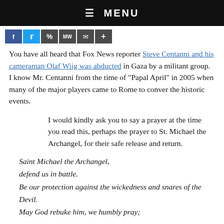☰  MENU
[Figure (other): Social sharing icons bar: Facebook, Twitter, link, MW, email, plus]
You have all heard that Fox News reporter Steve Centanni and his cameraman Olaf Wiig was abducted in Gaza by a militant group.  I know Mr. Centanni from the time of "Papal April" in 2005 when many of the major players came to Rome to conver the historic events.
I would kindly ask you to say a prayer at the time you read this, perhaps the prayer to St. Michael the Archangel, for their safe release and return.
Saint Michael the Archangel,
defend us in battle.
Be our protection against the wickedness and snares of the Devil.
May God rebuke him, we humbly pray;